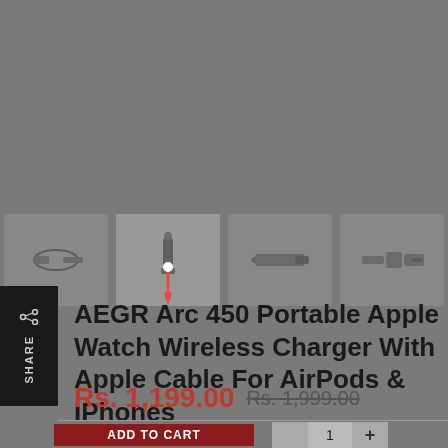[Figure (photo): Row of four product thumbnail images showing AEGR Arc 450 Portable Apple Watch Wireless Charger from different angles on a grey background. Center thumbnail shows charger with a stylus/pin indicator overlay.]
AEGR Arc 450 Portable Apple Watch Wireless Charger With Apple Cable For AirPods & IPhones
Rs. 1,199.00   Rs. 1,999.00
ADD TO CART   1   +